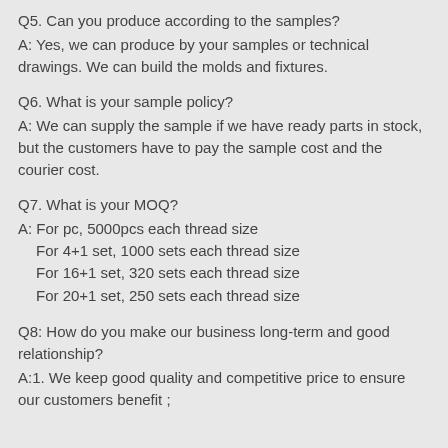Q5. Can you produce according to the samples?
A: Yes, we can produce by your samples or technical drawings. We can build the molds and fixtures.
Q6. What is your sample policy?
A: We can supply the sample if we have ready parts in stock, but the customers have to pay the sample cost and the courier cost.
Q7. What is your MOQ?
A: For pc, 5000pcs each thread size
  For 4+1 set, 1000 sets each thread size
  For 16+1 set, 320 sets each thread size
  For 20+1 set, 250 sets each thread size
Q8: How do you make our business long-term and good relationship?
A:1. We keep good quality and competitive price to ensure our customers benefit ;